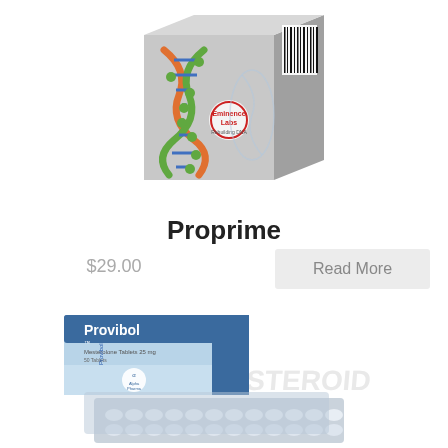[Figure (photo): Eminence Labs product box with DNA helix graphic and barcode on top portion of page]
Proprime
$29.00
Read More
[Figure (photo): Provibol (Mesterolone Tablets 25 mg) by Alpha-Pharma product box and blister packs of tablets, with watermark 'ONLINE STEROID']